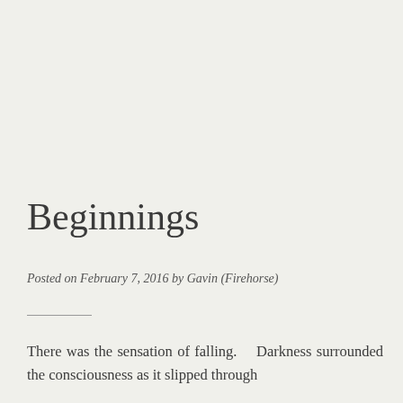Beginnings
Posted on February 7, 2016 by Gavin (Firehorse)
There was the sensation of falling.    Darkness surrounded the consciousness as it slipped through